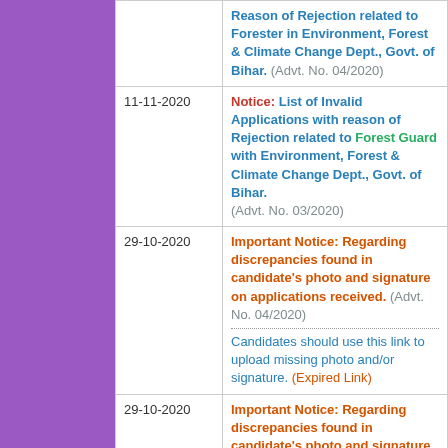| Date | Notice |
| --- | --- |
|  | Reason of Rejection related to Forester in Environment, Forest & Climate Change Dept., Govt. of Bihar. (Advt. No. 04/2020) |
| 11-11-2020 | Notice: List of Invalid Applications with reason of Rejection related to Forest Guard with Environment, Forest & Climate Change Dept., Govt. of Bihar. (Advt. No. 03/2020) |
| 29-10-2020 | Important Notice: Regarding discrepancies found in candidate's photo and signature on applications received. (Advt. No. 04/2020) .......... Candidates should use this link to upload missing photo and/or signature. (Expired Link) |
| 29-10-2020 | Important Notice: Regarding discrepancies found in candidate's photo and signature on applications received. (Advt. No. 03/2020) .......... Candidates should use this link to upload missing photo and/or signature. (Expired Link) |
| 26-07-2020 | Notice: Apply Online for the post of Forester for Environment, Forest & |